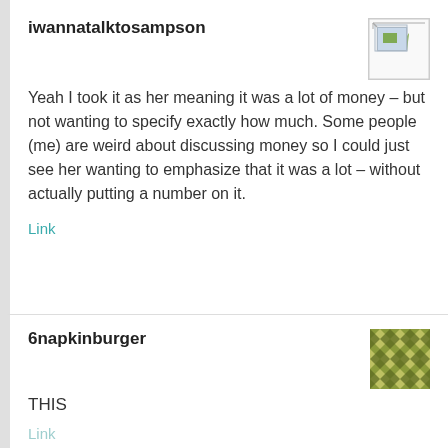iwannatalktosampson
Yeah I took it as her meaning it was a lot of money – but not wanting to specify exactly how much. Some people (me) are weird about discussing money so I could just see her wanting to emphasize that it was a lot – without actually putting a number on it.
Link
6napkinburger
THIS
Link